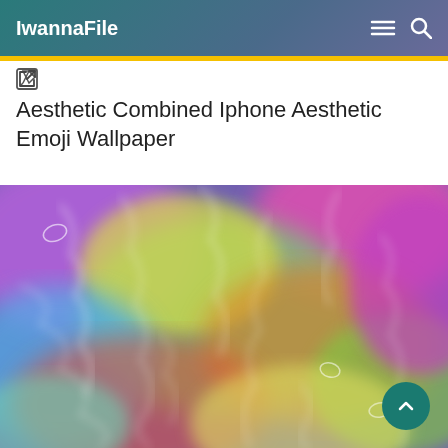IwannaFile
Aesthetic Combined Iphone Aesthetic Emoji Wallpaper
[Figure (photo): Colorful psychedelic abstract wallpaper image with swirling rainbow colors including purple, pink, green, yellow, orange, and blue with white lightning-like patterns]